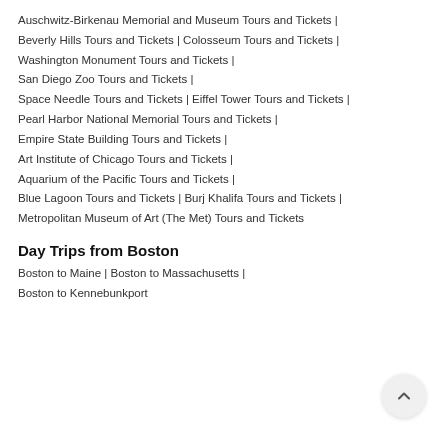Auschwitz-Birkenau Memorial and Museum Tours and Tickets |
Beverly Hills Tours and Tickets | Colosseum Tours and Tickets |
Washington Monument Tours and Tickets |
San Diego Zoo Tours and Tickets |
Space Needle Tours and Tickets | Eiffel Tower Tours and Tickets |
Pearl Harbor National Memorial Tours and Tickets |
Empire State Building Tours and Tickets |
Art Institute of Chicago Tours and Tickets |
Aquarium of the Pacific Tours and Tickets |
Blue Lagoon Tours and Tickets | Burj Khalifa Tours and Tickets |
Metropolitan Museum of Art (The Met) Tours and Tickets
Day Trips from Boston
Boston to Maine | Boston to Massachusetts |
Boston to Kennebunkport